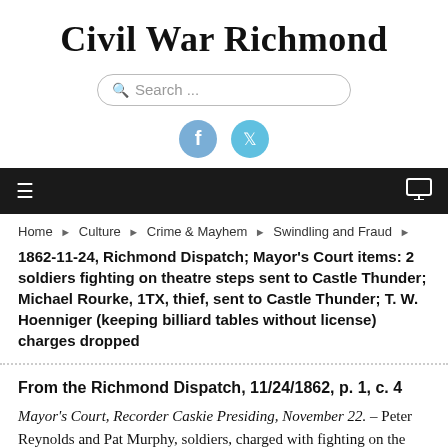Civil War Richmond
[Figure (other): Search bar with rounded borders and placeholder text 'Search ...']
[Figure (other): Social media icons: Facebook (blue circle with 'f') and Twitter (light blue circle with bird icon)]
[Figure (other): Dark navigation bar with hamburger menu icon on left and monitor icon on right]
Home ▶ Culture ▶ Crime & Mayhem ▶ Swindling and Fraud ▶
1862-11-24, Richmond Dispatch; Mayor's Court items: 2 soldiers fighting on theatre steps sent to Castle Thunder; Michael Rourke, 1TX, thief, sent to Castle Thunder; T. W. Hoenniger (keeping billiard tables without license) charges dropped
From the Richmond Dispatch, 11/24/1862, p. 1, c. 4
Mayor's Court, Recorder Caskie Presiding, November 22. – Peter Reynolds and Pat Murphy, soldiers, charged with fighting on the steps of the Theatre, were sent to Capt. Alexander, to be returned to their regiments.